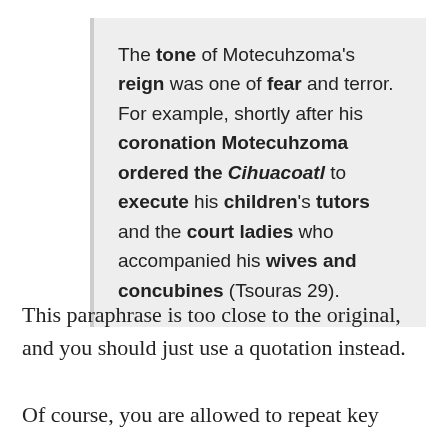The tone of Motecuhzoma's reign was one of fear and terror. For example, shortly after his coronation Motecuhzoma ordered the Cihuacoatl to execute his children's tutors and the court ladies who accompanied his wives and concubines (Tsouras 29).
This paraphrase is too close to the original, and you should just use a quotation instead.
Of course, you are allowed to repeat key